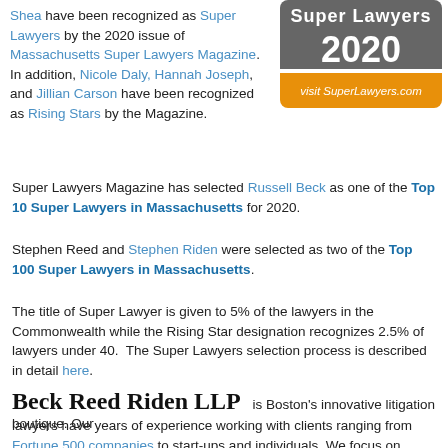Shea have been recognized as Super Lawyers by the 2020 issue of Massachusetts Super Lawyers Magazine. In addition, Nicole Daly, Hannah Joseph, and Jillian Carson have been recognized as Rising Stars by the Magazine.
[Figure (logo): Super Lawyers 2020 badge with gray top section reading 'Super Lawyers 2020' and orange bottom section reading 'visit SuperLawyers.com']
Super Lawyers Magazine has selected Russell Beck as one of the Top 10 Super Lawyers in Massachusetts for 2020.
Stephen Reed and Stephen Riden were selected as two of the Top 100 Super Lawyers in Massachusetts.
The title of Super Lawyer is given to 5% of the lawyers in the Commonwealth while the Rising Star designation recognizes 2.5% of lawyers under 40. The Super Lawyers selection process is described in detail here.
Beck Reed Riden LLP is Boston's innovative litigation boutique. Our lawyers have years of experience working with clients ranging from Fortune 500 companies to start-ups and individuals. We focus on business litigation and employment.
We are experienced litigators and counselors, helping our clients